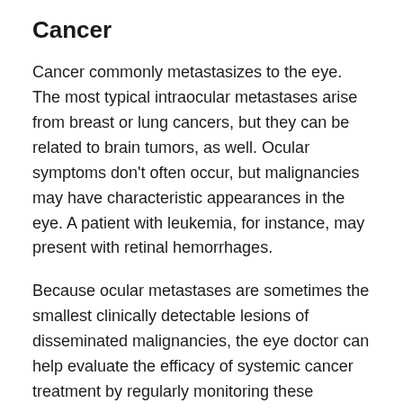Cancer
Cancer commonly metastasizes to the eye. The most typical intraocular metastases arise from breast or lung cancers, but they can be related to brain tumors, as well. Ocular symptoms don't often occur, but malignancies may have characteristic appearances in the eye. A patient with leukemia, for instance, may present with retinal hemorrhages.
Because ocular metastases are sometimes the smallest clinically detectable lesions of disseminated malignancies, the eye doctor can help evaluate the efficacy of systemic cancer treatment by regularly monitoring these lesions.
Multiple sclerosis